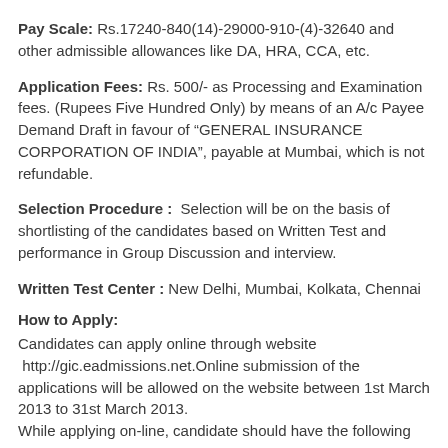Pay Scale: Rs.17240-840(14)-29000-910-(4)-32640 and other admissible allowances like DA, HRA, CCA, etc.
Application Fees: Rs. 500/- as Processing and Examination fees. (Rupees Five Hundred Only) by means of an A/c Payee Demand Draft in favour of “GENERAL INSURANCE CORPORATION OF INDIA”, payable at Mumbai, which is not refundable.
Selection Procedure : Selection will be on the basis of shortlisting of the candidates based on Written Test and performance in Group Discussion and interview.
Written Test Center : New Delhi, Mumbai, Kolkata, Chennai
How to Apply:
Candidates can apply online through website http://gic.eadmissions.net.Online submission of the applications will be allowed on the website between 1st March 2013 to 31st March 2013.
While applying on-line, candidate should have the following